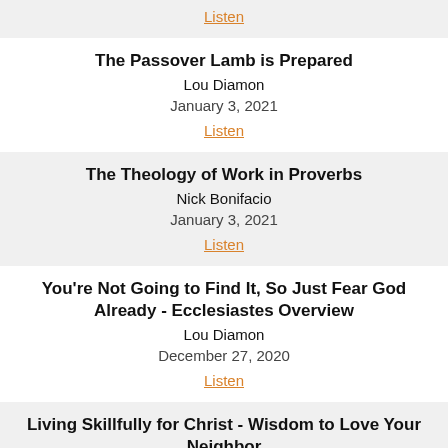Listen
The Passover Lamb is Prepared
Lou Diamon
January 3, 2021
Listen
The Theology of Work in Proverbs
Nick Bonifacio
January 3, 2021
Listen
You're Not Going to Find It, So Just Fear God Already - Ecclesiastes Overview
Lou Diamon
December 27, 2020
Listen
Living Skillfully for Christ - Wisdom to Love Your Neighbor
Mike Lucas